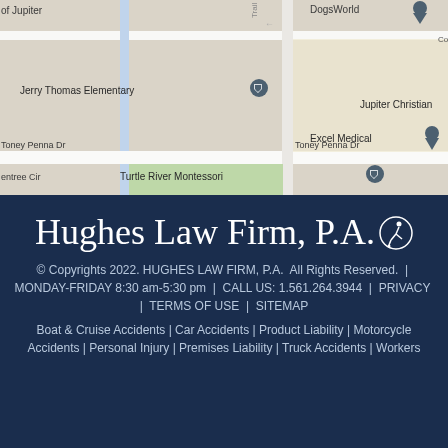[Figure (map): Google Maps view showing Jerry Thomas Elementary, Excel Medical, Turtle River Montessori, DogsWorld, Jupiter Christian, with street names including Toney Penna Dr, entree Cir, of Jupiter]
Hughes Law Firm, P.A.
© Copyrights 2022. HUGHES LAW FIRM, P.A.  All Rights Reserved.  |  MONDAY-FRIDAY 8:30 am-5:30 pm  |  CALL US: 1.561.264.3944  |  PRIVACY  |  TERMS OF USE  |  SITEMAP
Boat & Cruise Accidents | Car Accidents | Product Liability | Motorcycle Accidents | Personal Injury | Premises Liability | Truck Accidents | Workers